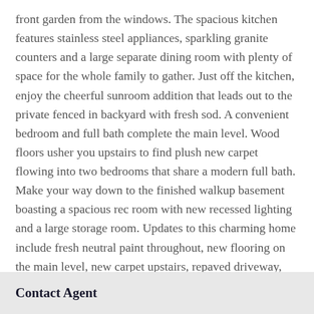front garden from the windows. The spacious kitchen features stainless steel appliances, sparkling granite counters and a large separate dining room with plenty of space for the whole family to gather. Just off the kitchen, enjoy the cheerful sunroom addition that leads out to the private fenced in backyard with fresh sod. A convenient bedroom and full bath complete the main level. Wood floors usher you upstairs to find plush new carpet flowing into two bedrooms that share a modern full bath. Make your way down to the finished walkup basement boasting a spacious rec room with new recessed lighting and a large storage room. Updates to this charming home include fresh neutral paint throughout, new flooring on the main level, new carpet upstairs, repaved driveway, sod in the backyard and recessed lighting in the basement (2022). Roof, windows, siding, walkways, front porch, rear patio and HVAC (2017-2018). The top notch location of the best...
Contact Agent